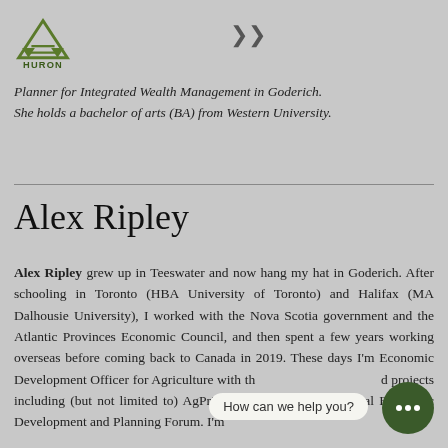HURON
Planner for Integrated Wealth Management in Goderich. She holds a bachelor of arts (BA) from Western University.
Alex Ripley
Alex Ripley grew up in Teeswater and now hang my hat in Goderich. After schooling in Toronto (HBA University of Toronto) and Halifax (MA Dalhousie University), I worked with the Nova Scotia government and the Atlantic Provinces Economic Council, and then spent a few years working overseas before coming back to Canada in 2019. These days I'm Economic Development Officer for Agriculture with th…projects including (but not limited to) AgPrize and the 2020 Municipal Economic Development and Planning Forum. I'm